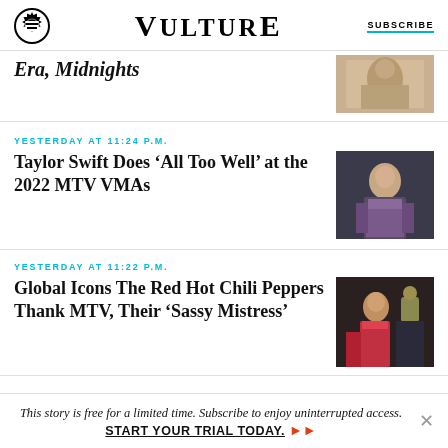VULTURE | SUBSCRIBE
Era, Midnights
YESTERDAY AT 11:24 P.M.
Taylor Swift Does ‘All Too Well’ at the 2022 MTV VMAs
YESTERDAY AT 11:22 P.M.
Global Icons The Red Hot Chili Peppers Thank MTV, Their ‘Sassy Mistress’
This story is free for a limited time. Subscribe to enjoy uninterrupted access. START YOUR TRIAL TODAY.